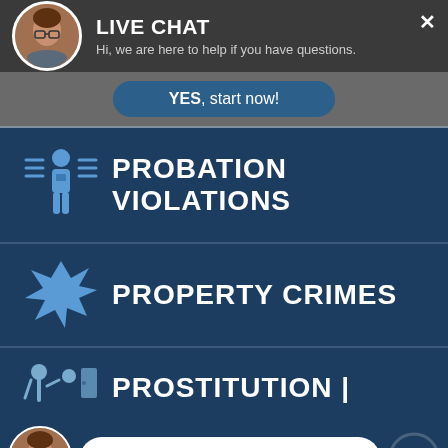[Figure (screenshot): Live chat widget header with avatar photo of a woman with glasses, title LIVE CHAT, subtitle text, close button, and YES start now button]
LIVE CHAT
Hi, we are here to help if you have questions.
YES, start now!
PROBATION VIOLATIONS
PROPERTY CRIMES
PROSTITUTION |
LIVE CHAT  START NOW